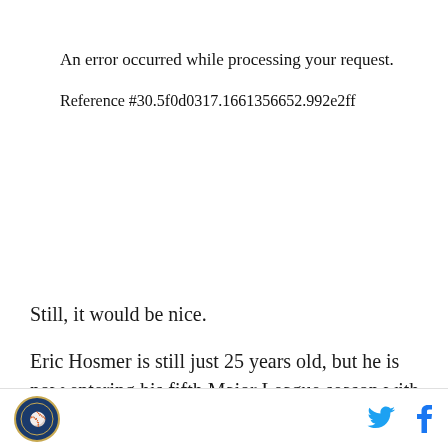An error occurred while processing your request.
Reference #30.5f0d0317.1661356652.992e2ff
Still, it would be nice.
Eric Hosmer is still just 25 years old, but he is now entering his fifth Major League season with 2,388 plate appearances under his belt. Since 2011, among first
[logo] [twitter] [facebook]